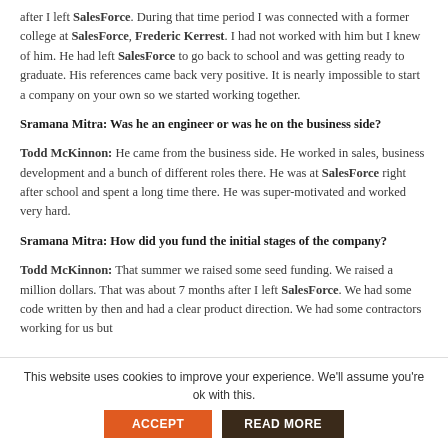after I left SalesForce. During that time period I was connected with a former college at SalesForce, Frederic Kerrest. I had not worked with him but I knew of him. He had left SalesForce to go back to school and was getting ready to graduate. His references came back very positive. It is nearly impossible to start a company on your own so we started working together.
Sramana Mitra: Was he an engineer or was he on the business side?
Todd McKinnon: He came from the business side. He worked in sales, business development and a bunch of different roles there. He was at SalesForce right after school and spent a long time there. He was super-motivated and worked very hard.
Sramana Mitra: How did you fund the initial stages of the company?
Todd McKinnon: That summer we raised some seed funding. We raised a million dollars. That was about 7 months after I left SalesForce. We had some code written by then and had a clear product direction. We had some contractors working for us but
This website uses cookies to improve your experience. We'll assume you're ok with this.